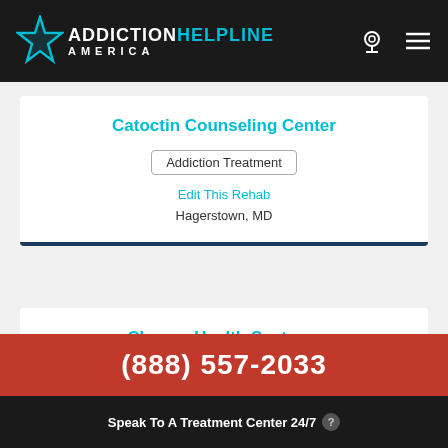Addiction Helpline America
Catoctin Counseling Center
Addiction Treatment
Edit This Rehab
Hagerstown, MD
Change Health Systems
(888) 557-2033
Speak To A Treatment Center 24/7